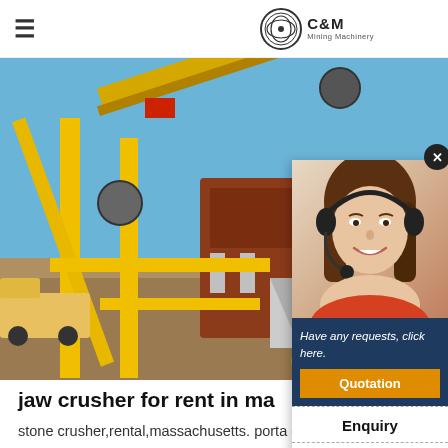C&M Mining Machinery
[Figure (photo): Mining jaw crusher machine with yellow metal frame and conveyor belts outdoors under blue sky, with 'C&M Mach' watermark text on image]
[Figure (photo): Customer service representative (woman with headset, smiling) shown in sidebar popup with 'Have any requests, click here.' text, Quotation button, Enquiry section, drobilkalm@gmail.com email, and Chat button]
jaw crusher for rent in ma
stone crusher,rental,massachusetts. porta crusher rental massachusetts. Mining crushers ma